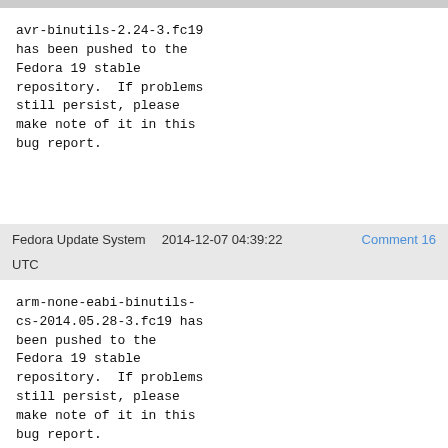avr-binutils-2.24-3.fc19 has been pushed to the Fedora 19 stable repository.  If problems still persist, please make note of it in this bug report.
Fedora Update System   2014-12-07 04:39:22   Comment 16
UTC
arm-none-eabi-binutils-cs-2014.05.28-3.fc19 has been pushed to the Fedora 19 stable repository.  If problems still persist, please make note of it in this bug report.
Nick Clifton   2015-06-26 15:29:38 UTC   Comment 19